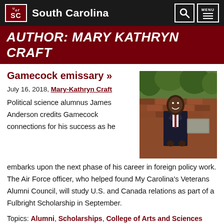South Carolina
AUTHOR: MARY KATHRYN CRAFT
Gamecock emissary »
July 16, 2018, Mary-Kathryn Craft
[Figure (photo): A man in a dark suit and red tie standing in front of a brick wall, smiling]
Political science alumnus James Anderson credits Gamecock connections for his success as he embarks upon the next phase of his career in foreign policy work. The Air Force officer, who helped found My Carolina's Veterans Alumni Council, will study U.S. and Canada relations as part of a Fulbright Scholarship in September.
Topics: Alumni, Scholarships, College of Arts and Sciences